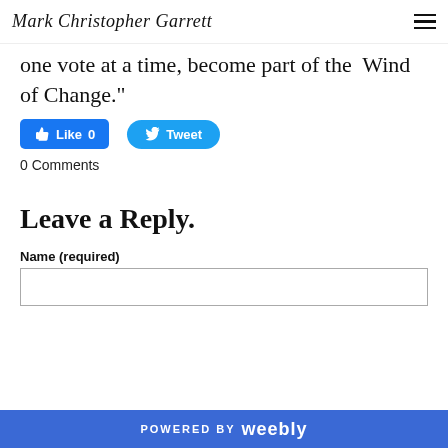Mark Christopher Garrett
one vote at a time, become part of the  Wind of Change."
[Figure (other): Facebook Like button (0 likes) and Twitter Tweet button]
0 Comments
Leave a Reply.
Name (required)
POWERED BY weebly